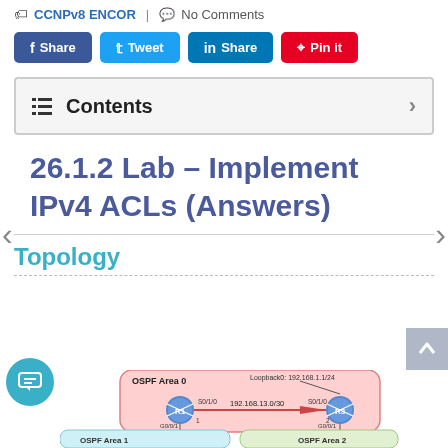CCNPv8 ENCOR | No Comments
Share | Tweet | Share | Pin it
Contents
26.1.2 Lab – Implement IPv4 ACLs (Answers)
Topology
[Figure (network-graph): OSPF topology diagram showing R1 in OSPF Area 0 connected to R3 via 192.168.13.0/30 with G0/1/0 and S0/1/0 interfaces. R3 has Loopback0: 192.168.1.1/24. OSPF Area 1 is shown at lower left, OSPF Area 2 at lower right.]